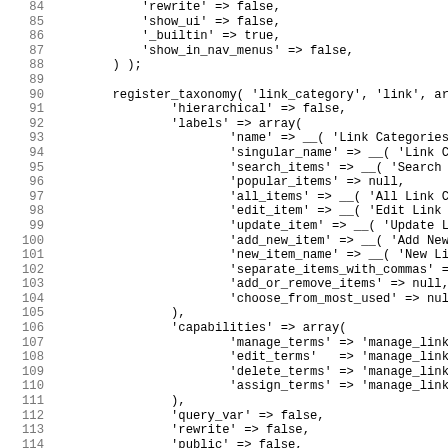Code listing lines 84-115 showing PHP register_taxonomy function call with link_category parameters including hierarchical, labels array, capabilities array, query_var, rewrite, and public settings.